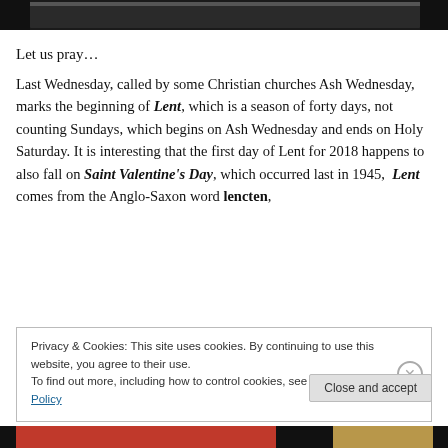[Figure (photo): Dark photograph strip at top of page, partially cropped]
Let us pray…
Last Wednesday, called by some Christian churches Ash Wednesday, marks the beginning of Lent, which is a season of forty days, not counting Sundays, which begins on Ash Wednesday and ends on Holy Saturday. It is interesting that the first day of Lent for 2018 happens to also fall on Saint Valentine's Day, which occurred last in 1945,  Lent comes from the Anglo-Saxon word lencten,
Privacy & Cookies: This site uses cookies. By continuing to use this website, you agree to their use.
To find out more, including how to control cookies, see here: Cookie Policy